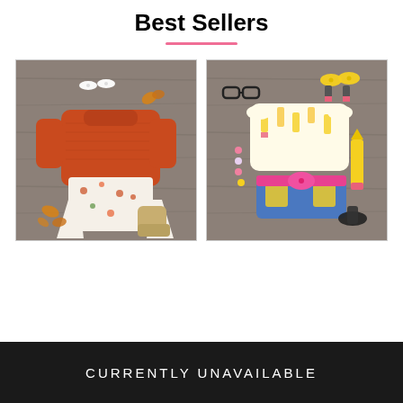Best Sellers
[Figure (photo): Two children's outfit flat lay photos side by side. Left: fall-themed outfit with orange knit sweater, floral bell-bottom pants, gold boots, white bow hair clips, beaded necklace, and fall leaf decorations on a gray wood background. Right: back-to-school themed outfit with pencil-print off-shoulder top, denim shorts with pink bow belt, pencil-shaped eraser accessories, yellow pencil prop, black glasses, yellow bow hair clips, pink beaded necklace, and black glitter sandals on a gray wood background.]
CURRENTLY UNAVAILABLE